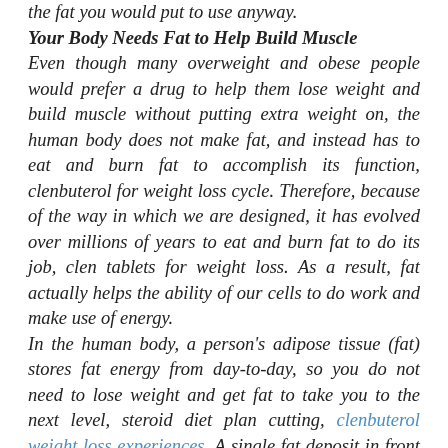the fat you would put to use anyway.
Your Body Needs Fat to Help Build Muscle
Even though many overweight and obese people would prefer a drug to help them lose weight and build muscle without putting extra weight on, the human body does not make fat, and instead has to eat and burn fat to accomplish its function, clenbuterol for weight loss cycle. Therefore, because of the way in which we are designed, it has evolved over millions of years to eat and burn fat to do its job, clen tablets for weight loss. As a result, fat actually helps the ability of our cells to do work and make use of energy.
In the human body, a person's adipose tissue (fat) stores fat energy from day-to-day, so you do not need to lose weight and get fat to take you to the next level, steroid diet plan cutting, clenbuterol weight loss experiences. A single fat deposit in front of the neck is enough to start your fat production, even over a year and a half after the initial fat gain, how to use peptides for fat loss. And as our bodies can use fat even over a lifetime without ever gaining another ounce, using just HGH